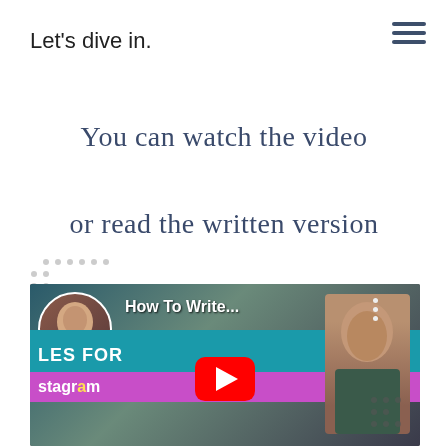Let's dive in.
You can watch the video or read the written version below.
[Figure (screenshot): YouTube video thumbnail showing 'How To Write...' with a woman's face on the left and another woman on the right, with a red YouTube play button in the center. Background shows text 'LES FOR' and 'stagr' (Instagram). Dotted decorative border on upper-left.]